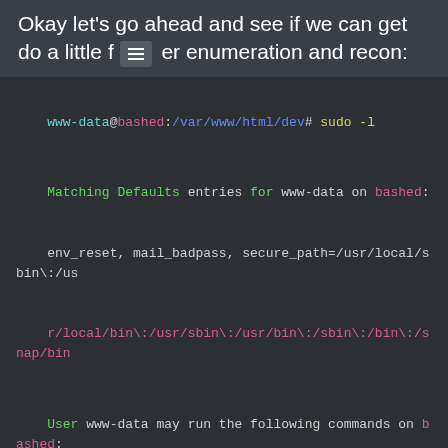Okay let's go ahead and see if we can get do a little further enumeration and recon:
[Figure (screenshot): Terminal screenshot showing sudo -l command output. Command: www-data@bashed:/var/www/html/dev# sudo -l. Output shows Matching Defaults entries for www-data on bashed: env_reset, mail_badpass, secure_path=/usr/local/sbin:/usr/local/bin:/usr/sbin:/usr/bin:/sbin:/bin:/snap/bin. User www-data may run the following commands on bashed: (scriptmanager : scriptmanager) NOPASSWD: ALL]
Interesting, it appears we have sudo NOPASSWD access to run resources or files as the user "scriptmanager". We'll want to see if we can find anything tied to the "scriptmanager", including if any directories (besides /home/scriptmanager ) are owned by the scriptmanager user.